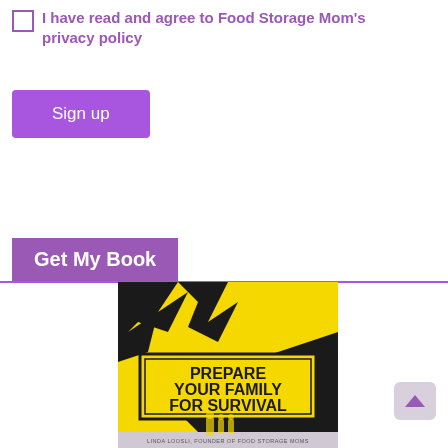I have read and agree to Food Storage Mom's privacy policy
Sign up
Get My Book
[Figure (illustration): Book cover of 'Prepare Your Family For Survival' by Linda Loosli, Founder of Food Storage Moms. Yellow and black cover with text: HOW TO BE READY FOR ANY EMERGENCY OR DISASTER SITUATION. Large text: PREPARE YOUR FAMILY FOR SURVIVAL. Bottom shows silhouette of family with a faded lower portion showing the author name.]